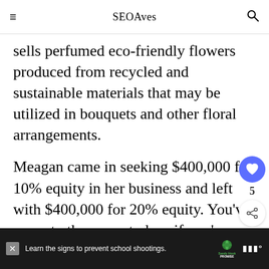SEOAves
sells perfumed eco-friendly flowers produced from recycled and sustainable materials that may be utilized in bouquets and other floral arrangements.
Meagan came in seeking $400,000 for 10% equity in her business and left with $400,000 for 20% equity. You've come to the correct place if you're itching for an Eco Flower upgrade.
What is Eco Flower?
Learn the signs to prevent school shootings.